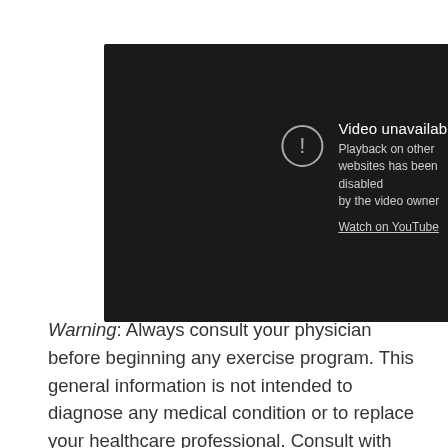[Figure (screenshot): YouTube video embed showing 'Video unavailable' error message. Dark background with warning icon, text reading 'Video unavailable', 'Playback on other websites has been disabled by the video owner', and a 'Watch on YouTube' link. YouTube play button icon in bottom right corner.]
Warning: Always consult your physician before beginning any exercise program. This general information is not intended to diagnose any medical condition or to replace your healthcare professional. Consult with your healthcare professional to design an appropriate exercise